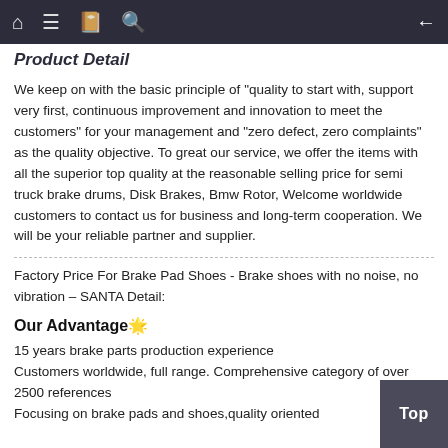Product Detail
We keep on with the basic principle of "quality to start with, support very first, continuous improvement and innovation to meet the customers" for your management and "zero defect, zero complaints" as the quality objective. To great our service, we offer the items with all the superior top quality at the reasonable selling price for semi truck brake drums, Disk Brakes, Bmw Rotor, Welcome worldwide customers to contact us for business and long-term cooperation. We will be your reliable partner and supplier.
Factory Price For Brake Pad Shoes - Brake shoes with no noise, no vibration – SANTA Detail:
Our Advantage🌟
15 years brake parts production experience
Customers worldwide, full range. Comprehensive category of over 2500 references
Focusing on brake pads and shoes,quality oriented